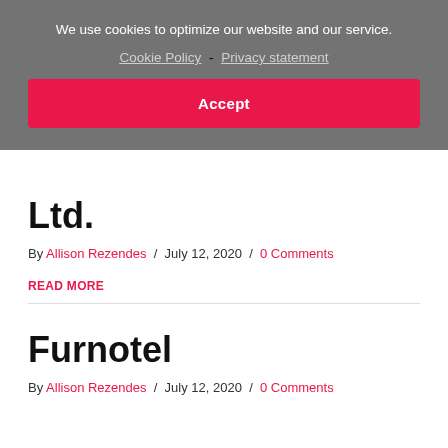We use cookies to optimize our website and our service.
Cookie Policy - Privacy statement
Accept
Ltd.
By Allison Rezendes / July 12, 2020 / 0 Comments
Read More
Furnotel
By Allison Rezendes / July 12, 2020 / 0 Comments